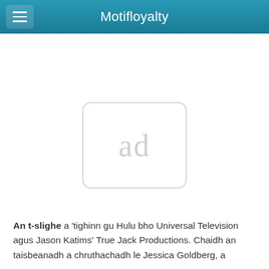Motifloyalty
[Figure (other): Ad placeholder box with 'ad' text in grey rounded rectangle]
An t-slighe a 'tighinn gu Hulu bho Universal Television agus Jason Katims' True Jack Productions. Chaidh an taisbeanadh a chruthachadh le Jessica Goldberg, a